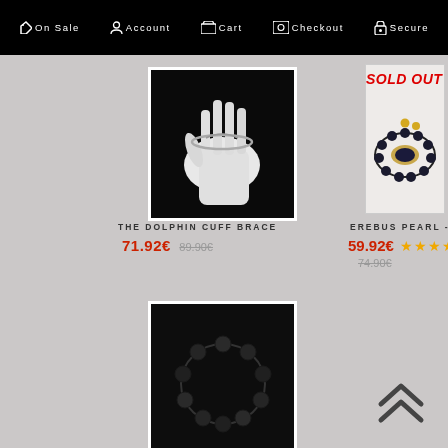On Sale  Account  Cart  Checkout  Secure
[Figure (photo): Black and white photo of a white mannequin hand wearing a dolphin cuff bracelet on dark background]
THE DOLPHIN CUFF BRACE
71.92€  89.90€
[Figure (photo): Photo of a beaded bracelet with gold and dark blue/black stones on light background, with SOLD OUT overlay]
EREBUS PEARL - REIKI CHAR
59.92€  ★★★★★  74.90€
[Figure (photo): Photo of a black beaded necklace/bracelet on dark background]